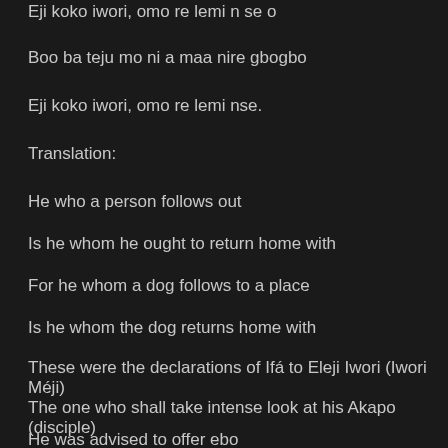Eji koko iwori, omo re lemi n se o
Boo ba teju mo ni a maa nire gbogbo
Eji koko iwori, omo re lemi nse.
Translation:
He who a person follows out
Is he whom he ought to return home with
For he whom a dog follows to a place
Is he whom the dog returns home with
These were the declarations of Ifá to Eleji Iwori (Iwori Méji)
The one who shall take intense look at his Akapo (disciple)
He was advised to offer ebo